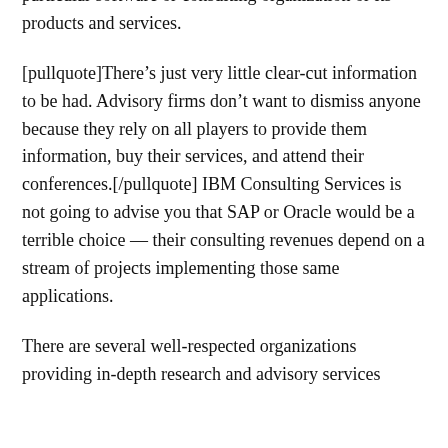particular software or consulting organization or its products and services.
[pullquote]There’s just very little clear-cut information to be had. Advisory firms don’t want to dismiss anyone because they rely on all players to provide them information, buy their services, and attend their conferences.[/pullquote] IBM Consulting Services is not going to advise you that SAP or Oracle would be a terrible choice — their consulting revenues depend on a stream of projects implementing those same applications.
There are several well-respected organizations providing in-depth research and advisory services